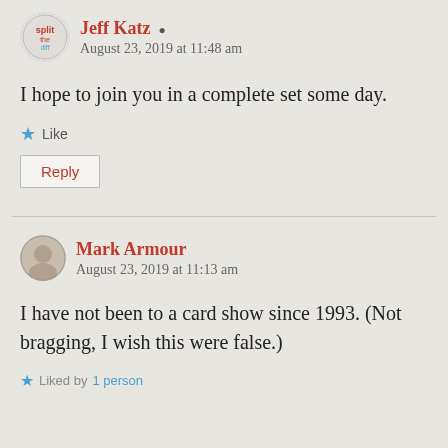Jeff Katz
August 23, 2019 at 11:48 am
I hope to join you in a complete set some day.
Like
Reply
Mark Armour
August 23, 2019 at 11:13 am
I have not been to a card show since 1993. (Not bragging, I wish this were false.)
Liked by 1 person